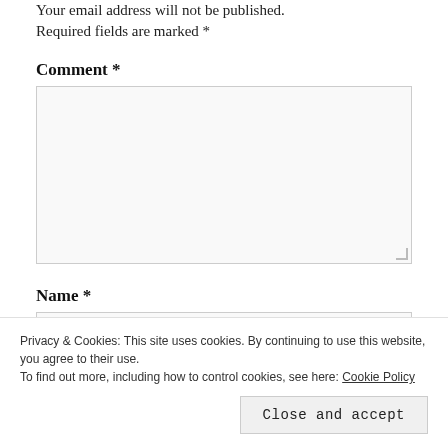Your email address will not be published. Required fields are marked *
Comment *
[Figure (other): Empty comment textarea input box with resize handle]
Name *
[Figure (other): Empty name text input box]
Privacy & Cookies: This site uses cookies. By continuing to use this website, you agree to their use.
To find out more, including how to control cookies, see here: Cookie Policy
Close and accept